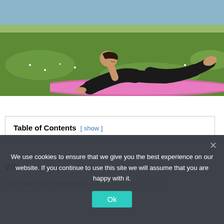[Figure (photo): Woman in black outfit performing a yoga backbend (cobra/seal pose) on a pink yoga mat outdoors on green grass]
Table of Contents [ show ]
Wh...
There are a lot of effective an ular beauty products in the market that have made many of the m...
We use cookies to ensure that we give you the best experience on our website. If you continue to use this site we will assume that you are happy with it.
Ok